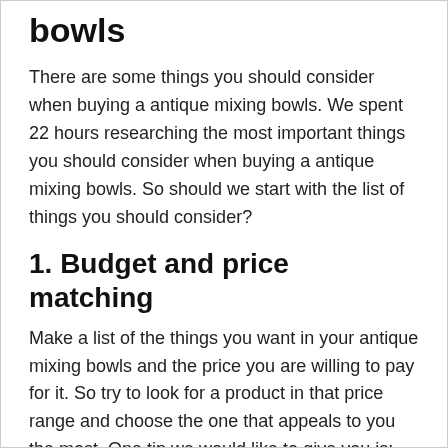bowls
There are some things you should consider when buying a antique mixing bowls. We spent 22 hours researching the most important things you should consider when buying a antique mixing bowls. So should we start with the list of things you should consider?
1. Budget and price matching
Make a list of the things you want in your antique mixing bowls and the price you are willing to pay for it. So try to look for a product in that price range and choose the one that appeals to you the most. One tip we would like to give you is: don't settle for a cheaper product if it doesn't even have a function you need.
Most antique mixing bowlss fall within the price range of $ 25.99 to $ 28.8. Therefore, if budget is not a problem and you want the best product for your needs, we advise you to choose the copper embossed mixing bowl, 100% pure heavy